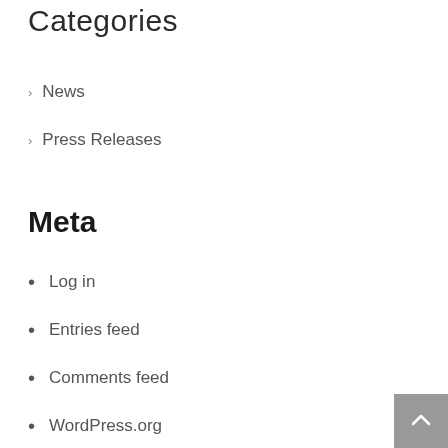Categories
News
Press Releases
Meta
Log in
Entries feed
Comments feed
WordPress.org